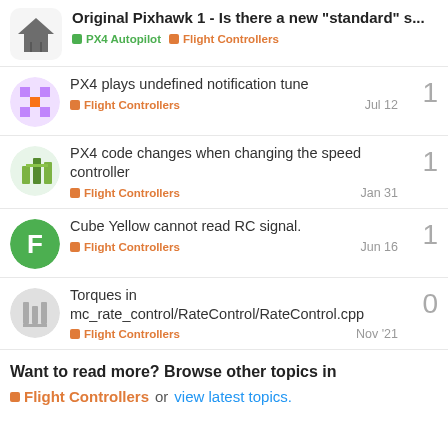Original Pixhawk 1 - Is there a new "standard" s... | PX4 Autopilot | Flight Controllers
PX4 plays undefined notification tune | Flight Controllers | Jul 12 | replies: 1
PX4 code changes when changing the speed controller | Flight Controllers | Jan 31 | replies: 1
Cube Yellow cannot read RC signal. | Flight Controllers | Jun 16 | replies: 1
Torques in mc_rate_control/RateControl/RateControl.cpp | Flight Controllers | Nov '21 | replies: 0
Want to read more? Browse other topics in Flight Controllers or view latest topics.